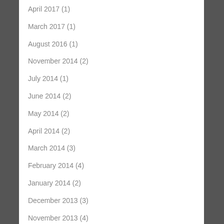April 2017 (1)
March 2017 (1)
August 2016 (1)
November 2014 (2)
July 2014 (1)
June 2014 (2)
May 2014 (2)
April 2014 (2)
March 2014 (3)
February 2014 (4)
January 2014 (2)
December 2013 (3)
November 2013 (4)
October 2013 (2)
September 2013 (1)